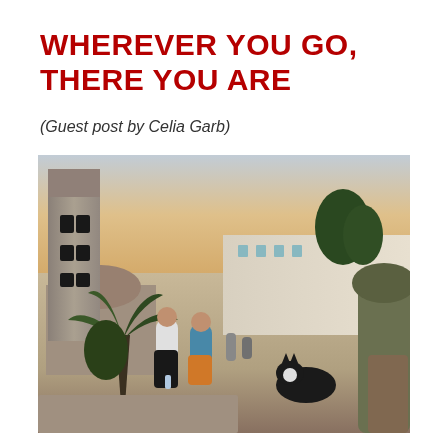WHEREVER YOU GO, THERE YOU ARE
(Guest post by Celia Garb)
[Figure (photo): Outdoor plaza scene at dusk with a church bell tower on the left, two children standing in the square, a cat in the foreground right, cactus and plants, and white Mediterranean-style buildings in the background under a warm sunset sky.]